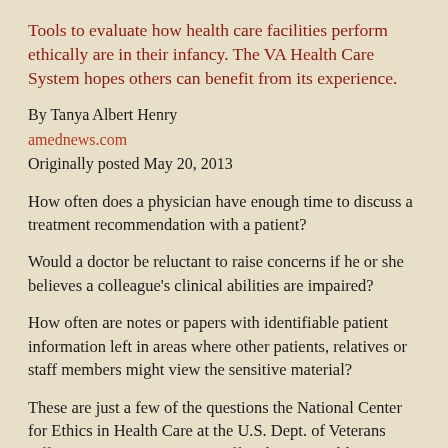Tools to evaluate how health care facilities perform ethically are in their infancy. The VA Health Care System hopes others can benefit from its experience.
By Tanya Albert Henry
amednews.com
Originally posted May 20, 2013
How often does a physician have enough time to discuss a treatment recommendation with a patient?
Would a doctor be reluctant to raise concerns if he or she believes a colleague's clinical abilities are impaired?
How often are notes or papers with identifiable patient information left in areas where other patients, relatives or staff members might view the sensitive material?
These are just a few of the questions the National Center for Ethics in Health Care at the U.S. Dept. of Veterans Affairs is using to query its staff at the VA Health Care System. The goal is to help facilities see what they are doing well in terms